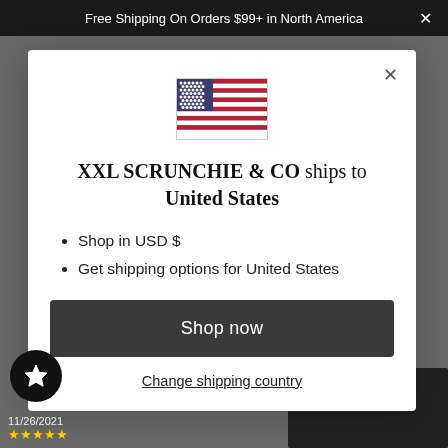Free Shipping On Orders $99+ in North America
[Figure (illustration): US flag illustration shown in modal dialog]
XXL SCRUNCHIE & CO ships to United States
Shop in USD $
Get shipping options for United States
Shop now
Change shipping country